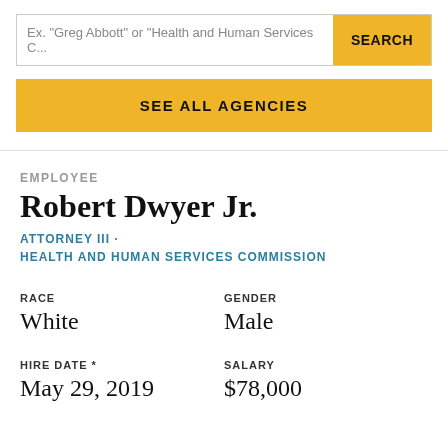Ex. "Greg Abbott" or "Health and Human Services C...
SEE ALL AGENCIES
EMPLOYEE
Robert Dwyer Jr.
ATTORNEY III · HEALTH AND HUMAN SERVICES COMMISSION
| RACE | GENDER |
| --- | --- |
| White | Male |
| HIRE DATE * | SALARY |
| --- | --- |
| May 29, 2019 | $78,000 |